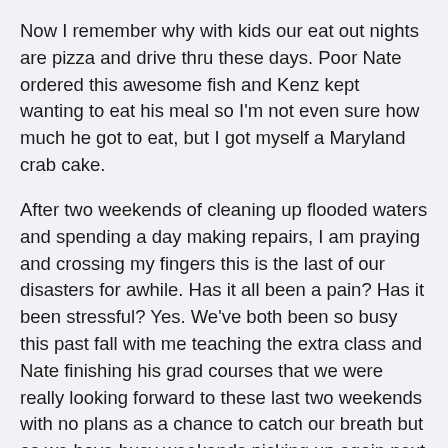Now I remember why with kids our eat out nights are pizza and drive thru these days. Poor Nate ordered this awesome fish and Kenz kept wanting to eat his meal so I'm not even sure how much he got to eat, but I got myself a Maryland crab cake.
After two weekends of cleaning up flooded waters and spending a day making repairs, I am praying and crossing my fingers this is the last of our disasters for awhile. Has it all been a pain? Has it been stressful? Yes. We've both been so busy this past fall with me teaching the extra class and Nate finishing his grad courses that we were really looking forward to these last two weekends with no plans as a chance to catch our breath but as we have busy weekends picking up again next weekend, it looks like we'll be waiting for Dec now for that. With Christmas December isn't exactly a slow month. Guess there's always January. But there are always way worse problems in the world to have than this so really it was just another week in paradise with crying kids, barking dogs, self possessed car alarms going off repeatedly (that happened in the middle of my work day this week too) blanket forts covering the living room